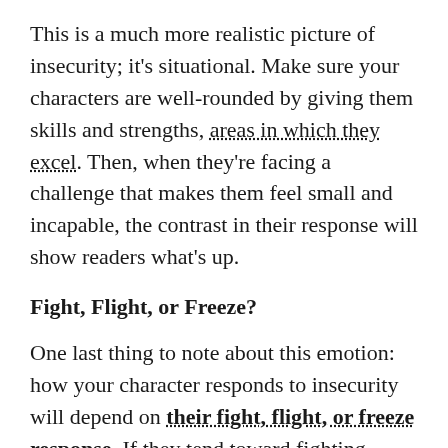This is a much more realistic picture of insecurity; it's situational. Make sure your characters are well-rounded by giving them skills and strengths, areas in which they excel. Then, when they're facing a challenge that makes them feel small and incapable, the contrast in their response will show readers what's up.
Fight, Flight, or Freeze?
One last thing to note about this emotion: how your character responds to insecurity will depend on their fight, flight, or freeze response. If they tend toward fighting, they'll likely become more aggressive, overcompensating for whatever failing (perceived or real) they're trying to hide. A character who is more likely to flee or freeze will